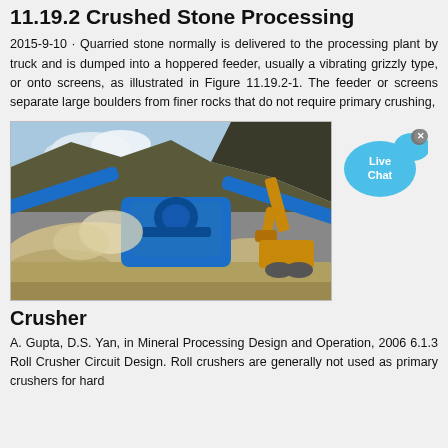11.19.2 Crushed Stone Processing
2015-9-10 · Quarried stone normally is delivered to the processing plant by truck and is dumped into a hoppered feeder, usually a vibrating grizzly type, or onto screens, as illustrated in Figure 11.19.2-1. The feeder or screens separate large boulders from finer rocks that do not require primary crushing,
[Figure (photo): Photo of a blue mobile crusher machine processing stone/gravel at a quarry site, with an excavator visible in the background and large piles of crushed stone material in the foreground.]
[Figure (other): Live Chat button bubble in blue]
Crusher
A. Gupta, D.S. Yan, in Mineral Processing Design and Operation, 2006 6.1.3 Roll Crusher Circuit Design. Roll crushers are generally not used as primary crushers for hard